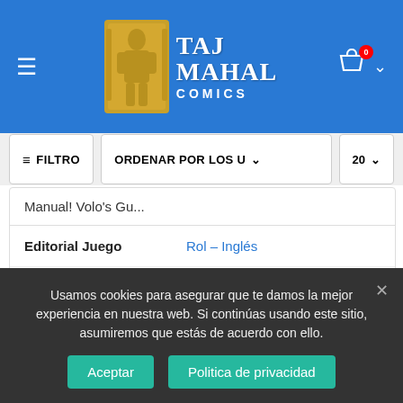[Figure (logo): Taj Mahal Comics logo with golden figure and blue background]
FILTRO
ORDENAR POR LOS U
20
Manual! Volo's Gu...
|  |  |
| --- | --- |
| Editorial Juego | Rol – Inglés |
| Colección Juego | Dungeons and Dragons 5.0 |
Usamos cookies para asegurar que te damos la mejor experiencia en nuestra web. Si continúas usando este sitio, asumiremos que estás de acuerdo con ello.
Aceptar
Politica de privacidad